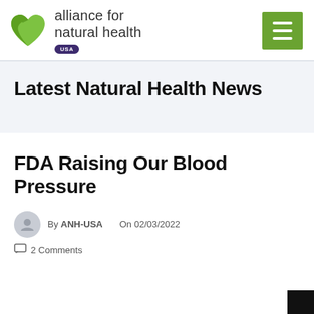[Figure (logo): Alliance for Natural Health USA logo with green heart/leaf icon and text]
Latest Natural Health News
FDA Raising Our Blood Pressure
By ANH-USA   On 02/03/2022
2 Comments